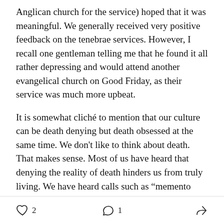Anglican church for the service) hoped that it was meaningful. We generally received very positive feedback on the tenebrae services. However, I recall one gentleman telling me that he found it all rather depressing and would attend another evangelical church on Good Friday, as their service was much more upbeat.
It is somewhat cliché to mention that our culture can be death denying but death obsessed at the same time. We don't like to think about death. That makes sense. Most of us have heard that denying the reality of death hinders us from truly living. We have heard calls such as “memento mori” and “seize the day”.
♡ 2   💬 1   ↪